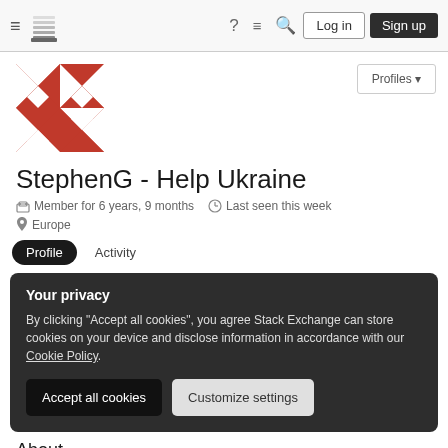Stack Exchange navigation bar with Log in and Sign up buttons
[Figure (logo): Stack Exchange user avatar — red and white geometric quilt pattern]
StephenG - Help Ukraine
Member for 6 years, 9 months   Last seen this week
Europe
Profile   Activity
Your privacy
By clicking "Accept all cookies", you agree Stack Exchange can store cookies on your device and disclose information in accordance with our Cookie Policy.
Accept all cookies   Customize settings
About